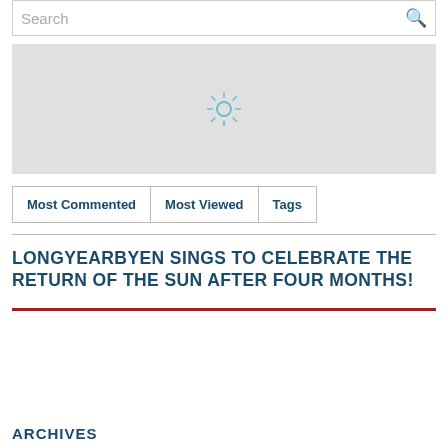Search
[Figure (map): A loading/placeholder map area with a spinning sun/loading indicator in the center on a light grey background.]
Most Commented  Most Viewed  Tags
LONGYEARBYEN SINGS TO CELEBRATE THE RETURN OF THE SUN AFTER FOUR MONTHS!
ARCHIVES